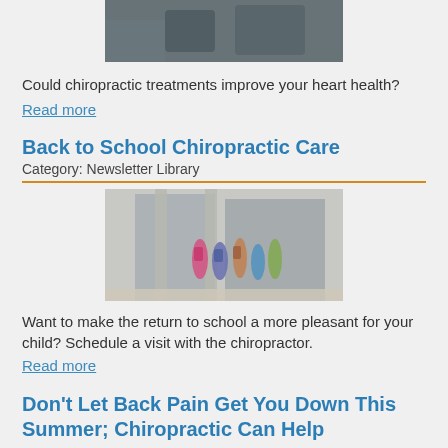[Figure (photo): Partial image of a person, cropped at top of page]
Could chiropractic treatments improve your heart health?
Read more
Back to School Chiropractic Care
Category: Newsletter Library
[Figure (photo): Students with backpacks walking toward school entrance]
Want to make the return to school a more pleasant for your child? Schedule a visit with the chiropractor.
Read more
Don't Let Back Pain Get You Down This Summer; Chiropractic Can Help